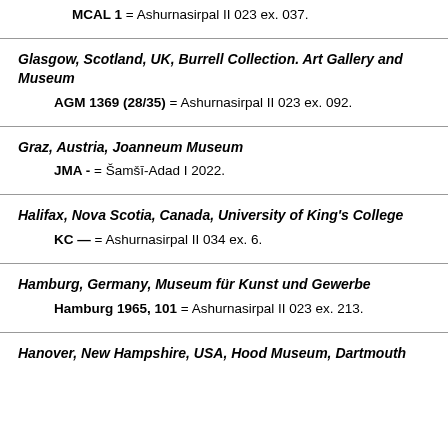MCAL 1 = Ashurnasirpal II 023 ex. 037.
Glasgow, Scotland, UK, Burrell Collection. Art Gallery and Museum
AGM 1369 (28/35) = Ashurnasirpal II 023 ex. 092.
Graz, Austria, Joanneum Museum
JMA - = Šamšī-Adad I 2022.
Halifax, Nova Scotia, Canada, University of King's College
KC — = Ashurnasirpal II 034 ex. 6.
Hamburg, Germany, Museum für Kunst und Gewerbe
Hamburg 1965, 101 = Ashurnasirpal II 023 ex. 213.
Hanover, New Hampshire, USA, Hood Museum, Dartmouth